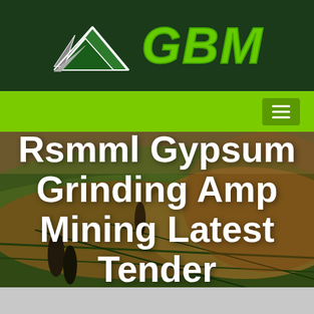[Figure (logo): GBM logo with mountain/triangle graphic and green GBM text on dark green header background]
[Figure (other): Green navigation bar with hamburger menu icon on the right]
[Figure (photo): Aerial landscape photo showing rolling agricultural fields with warm golden and green tones, with two dark standing stone figures visible]
Rsmml Gypsum Grinding Amp Mining Latest Tender